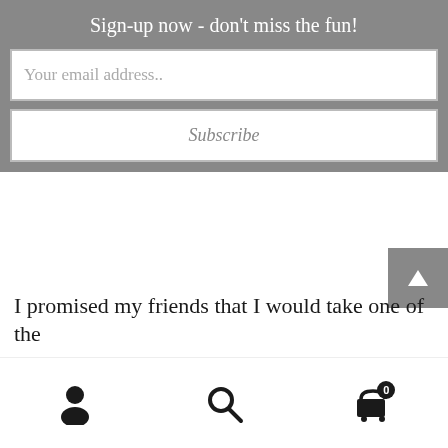Sign-up now - don't miss the fun!
Your email address..
Subscribe
I promised my friends that I would take one of the
[Figure (infographic): Bottom navigation bar with user/account icon, search icon, and shopping cart icon with badge showing 0]